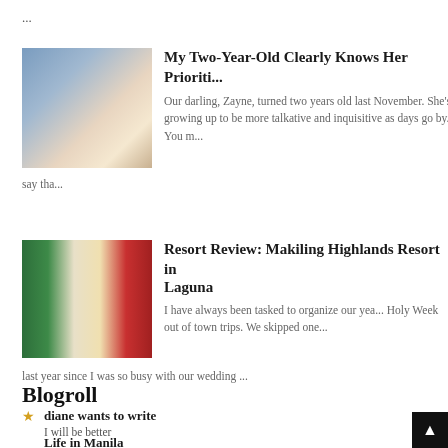...
[Figure (photo): Young child looking down, wearing white sleeveless top]
My Two-Year-Old Clearly Knows Her Prioriti...
Our darling, Zayne, turned two years old last November. She's growing up to be more talkative and inquisitive as days go by. You m... say tha...
[Figure (photo): Resort room with red curtains and a pool visible, side by side collage]
Resort Review: Makiling Highlands Resort in Laguna
I have always been tasked to organize our yea... Holy Week out of town trips. We skipped one last year since I was so busy with our wedding ...
Blogroll
diane wants to write
I will be better
Life in Manila